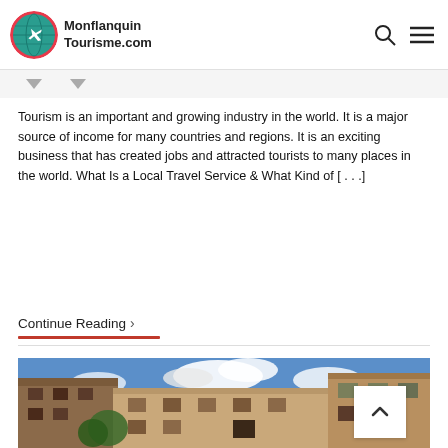Monflanquin Tourisme.com
Tourism is an important and growing industry in the world. It is a major source of income for many countries and regions. It is an exciting business that has created jobs and attracted tourists to many places in the world. What Is a Local Travel Service & What Kind of [...]
Continue Reading >
[Figure (photo): Street view of old stone buildings in a French village with blue sky and clouds in the background]